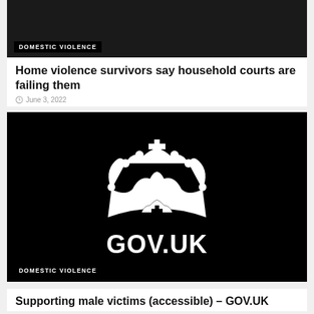[Figure (photo): Dark image with a DOMESTIC VIOLENCE badge label at bottom left]
Home violence survivors say household courts are failing them
June 3, 2022
[Figure (logo): GOV.UK logo — white crown and GOV.UK text on black background — with DOMESTIC VIOLENCE badge at bottom left]
Supporting male victims (accessible) – GOV.UK